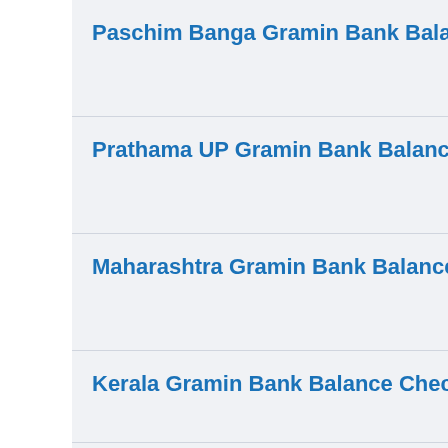Paschim Banga Gramin Bank Balance Check
Prathama UP Gramin Bank Balance Check
Maharashtra Gramin Bank Balance Check
Kerala Gramin Bank Balance Check
Jharkhand Rajya Gramin Bank Balance Check